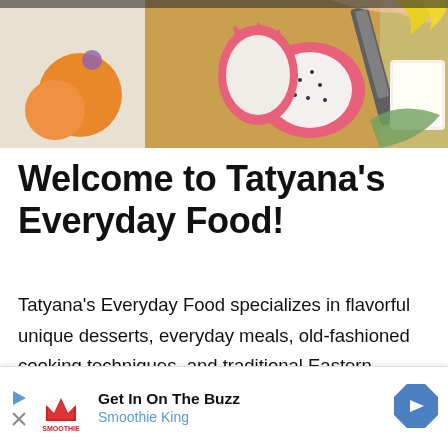[Figure (photo): Person cutting dragon fruit on a wooden cutting board, with oranges and other fruits visible in the background]
Welcome to Tatyana’s Everyday Food!
Tatyana’s Everyday Food specializes in flavorful unique desserts, everyday meals, old-fashioned cooking techniques, and traditional Eastern European recipes with easy-to-follow video instructions and accessible
[Figure (other): Advertisement banner: Get In On The Buzz - Smoothie King, with play button, Smoothie King logo, and navigation arrow]